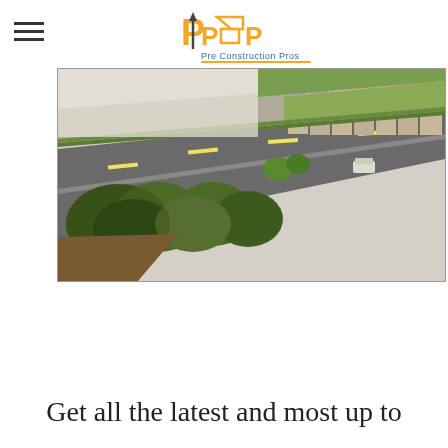[Figure (logo): Pre Construction Pros logo with house icon and orange/blue text]
[Figure (photo): Aerial rendering of a new townhouse development with street, trees, and row of modern townhomes]
Get all the latest and most up to